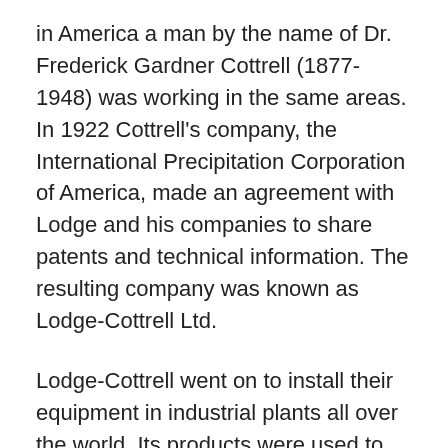in America a man by the name of Dr. Frederick Gardner Cottrell (1877-1948) was working in the same areas. In 1922 Cottrell's company, the International Precipitation Corporation of America, made an agreement with Lodge and his companies to share patents and technical information. The resulting company was known as Lodge-Cottrell Ltd.
Lodge-Cottrell went on to install their equipment in industrial plants all over the world. Its products were used to clean both air and water.
Lodge-Cottrell's signature products were the massive electrostatic precipitators used to scrub coal fly ash from↑ the exhausts of coal-fired power plants. These electrostatic precipitators are in use today and they are based on the principles of electrical precipitation. This is especially significant because coal fly ash (the smoke from burning